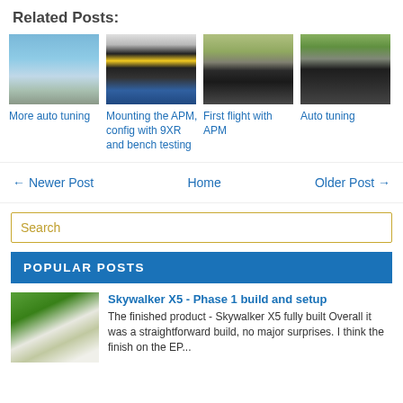Related Posts:
[Figure (photo): Thumbnail image of a lake with trees reflected in water under blue sky]
More auto tuning
[Figure (photo): Thumbnail image of drone electronics/APM mounted with yellow wiring]
Mounting the APM, config with 9XR and bench testing
[Figure (photo): Thumbnail image of a laptop on a field]
First flight with APM
[Figure (photo): Thumbnail image of a laptop outdoors]
Auto tuning
← Newer Post
Home
Older Post →
Search
POPULAR POSTS
[Figure (photo): Thumbnail of a white wing/plane on grass]
Skywalker X5 - Phase 1 build and setup
The finished product - Skywalker X5 fully built Overall it was a straightforward build, no major surprises. I think the finish on the EP...